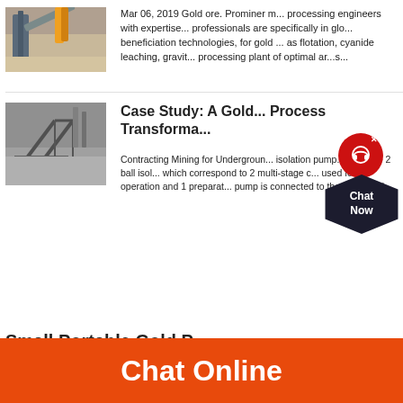[Figure (photo): Mining/ore processing facility with conveyor belts and industrial equipment outdoors]
Mar 06, 2019 Gold ore. Prominer m... processing engineers with expertise... professionals are specifically in glo... beneficiation technologies, for gold ... as flotation, cyanide leaching, gravit... processing plant of optimal ar... s...
[Figure (photo): Industrial mining structure with metal framework and smokestacks in background]
Case Study: A Gold... Process Transforma...
Contracting Mining for Undergroun... isolation pump. There are 2 ball isol... which correspond to 2 multi-stage c... used for 1 operation and 1 preparat... pump is connected to the ball isolati...
Small Portable Gold P...
Chat Online